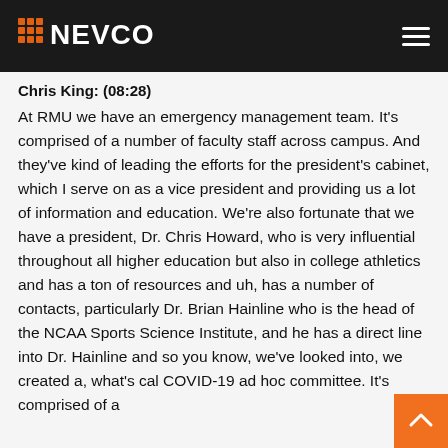NEVCO
Chris King: (08:28)
At RMU we have an emergency management team. It's comprised of a number of faculty staff across campus. And they've kind of leading the efforts for the president's cabinet, which I serve on as a vice president and providing us a lot of information and education. We're also fortunate that we have a president, Dr. Chris Howard, who is very influential throughout all higher education but also in college athletics and has a ton of resources and uh, has a number of contacts, particularly Dr. Brian Hainline who is the head of the NCAA Sports Science Institute, and he has a direct line into Dr. Hainline and so you know, we've looked into, we created a, what's cal COVID-19 ad hoc committee. It's comprised of a